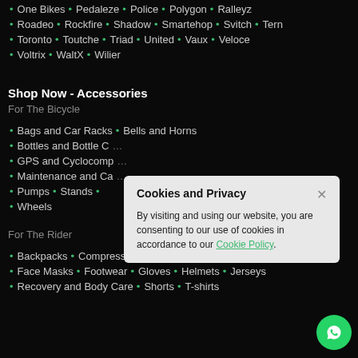One Bikes • Pedaleze • Police • Polygon • Ralleyz
Roadeo • Rockfire • Shadow • Smartehop • Svitch • Tern
Toronto • Toutche • Triad • United • Vaux • Veloce
Voltrix • WaltX • Wilier
Shop Now - Accessories
For The Bicycle
Bags and Car Racks • Bells and Horns
Bottles and Bottle C...
GPS and Cyclocomp...
Maintenance and Ca...
Pumps • Stands •
Wheels
For The Rider
Backpacks • Compression and Inner Wear • Eyewear
Face Masks • Footwear • Gloves • Helmets • Jerseys
Recovery and Body Care • Shorts • T-shirts
Cookies and Privacy — By visiting and using our website, you are consenting to our use of cookies in accordance to our Cookie Policy.